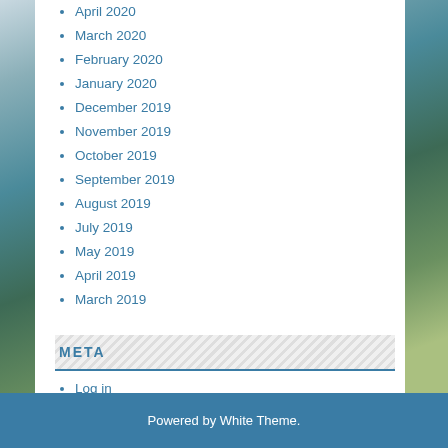April 2020
March 2020
February 2020
January 2020
December 2019
November 2019
October 2019
September 2019
August 2019
July 2019
May 2019
April 2019
March 2019
META
Log in
Search ...
Powered by White Theme.